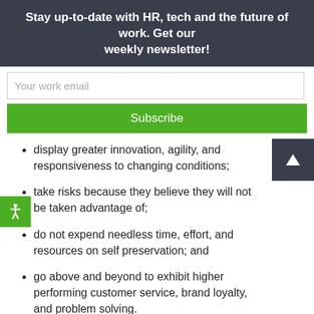Stay up-to-date with HR, tech and the future of work. Get our weekly newsletter!
Your work email
Subscribe
display greater innovation, agility, and responsiveness to changing conditions;
take risks because they believe they will not be taken advantage of;
do not expend needless time, effort, and resources on self preservation; and
go above and beyond to exhibit higher performing customer service, brand loyalty, and problem solving.
This leads to a competitive advantage through significantly higher commitment, satisfaction